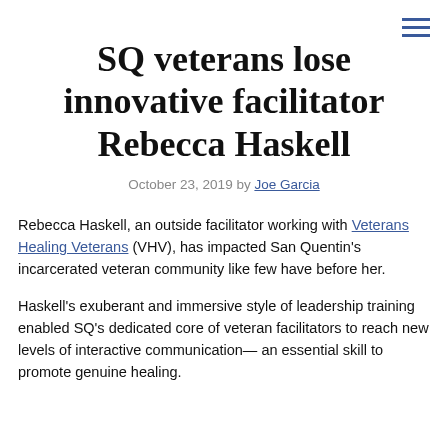[Figure (other): Hamburger menu icon (three horizontal lines) in top right corner]
SQ veterans lose innovative facilitator Rebecca Haskell
October 23, 2019 by Joe Garcia
Rebecca Haskell, an outside facilitator working with Veterans Healing Veterans (VHV), has impacted San Quentin's incarcerated veteran community like few have before her.
Haskell's exuberant and immersive style of leadership training enabled SQ's dedicated core of veteran facilitators to reach new levels of interactive communication— an essential skill to promote genuine healing.